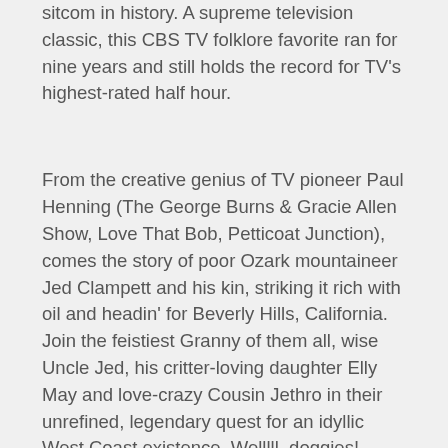sitcom in history. A supreme television classic, this CBS TV folklore favorite ran for nine years and still holds the record for TV’s highest-rated half hour.
From the creative genius of TV pioneer Paul Henning (The George Burns & Gracie Allen Show, Love That Bob, Petticoat Junction), comes the story of poor Ozark mountaineer Jed Clampett and his kin, striking it rich with oil and headin’ for Beverly Hills, California. Join the feistiest Granny of them all, wise Uncle Jed, his critter-loving daughter Elly May and love-crazy Cousin Jethro in their unrefined, legendary quest for an idyllic West Coast existence. Welllll, doggies!
This second Ultimate Collection features 27 newly-